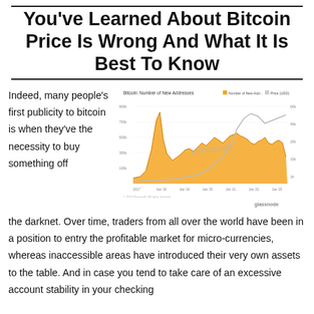You've Learned About Bitcoin Price Is Wrong And What It Is Best To Know
Indeed, many people's first publicity to bitcoin is when they've the necessity to buy something off the darknet. Over time, traders from all over the world have been in a position to entry the profitable market for micro-currencies, whereas inaccessible areas have introduced their very own assets to the table. And in case you tend to take care of an excessive account stability in your checking
[Figure (line-chart): Line chart from Glassnode showing Bitcoin number of new addresses over time, with an orange area series and a white/grey line series. The x-axis shows dates and the y-axis shows address counts. Watermark: glassnode.]